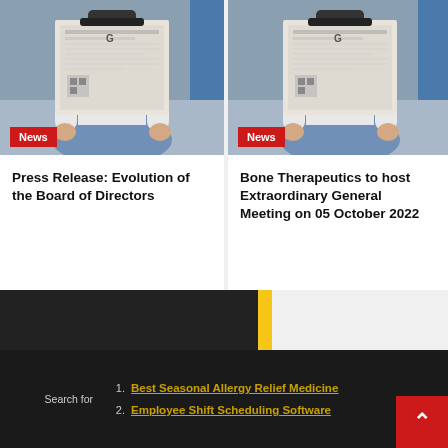[Figure (photo): Person sitting and reading a newspaper, holding it up to cover their face. Red 'News' badge in lower left.]
Press Release: Evolution of the Board of Directors
[Figure (photo): Person sitting and reading a newspaper, holding it up to cover their face. Red 'News' badge in lower left.]
Bone Therapeutics to host Extraordinary General Meeting on 05 October 2022
Search for
1. Best Seasonal Allergy Relief Medicine
2. Employee Shift Scheduling Software